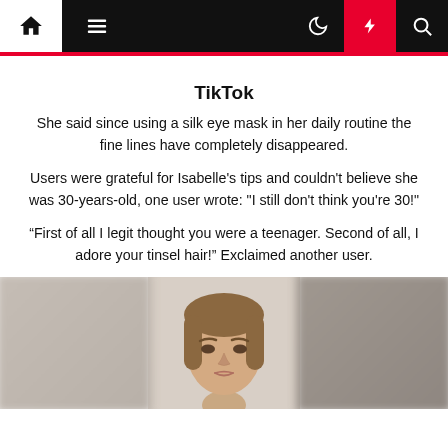Navigation bar with home, menu, moon, flash, and search icons
TikTok
She said since using a silk eye mask in her daily routine the fine lines have completely disappeared.
Users were grateful for Isabelle's tips and couldn't believe she was 30-years-old, one user wrote: "I still don't think you're 30!"
“First of all I legit thought you were a teenager. Second of all, I adore your tinsel hair!” Exclaimed another user.
[Figure (photo): Three-panel photo strip showing a young woman with brown hair, center panel in focus, side panels blurred]